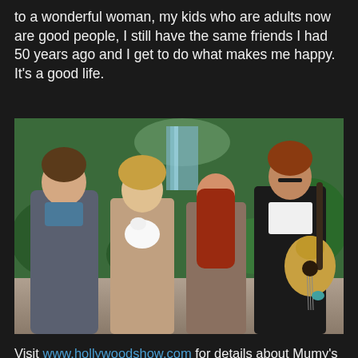to a wonderful woman, my kids who are adults now are good people, I still have the same friends I had 50 years ago and I get to do what makes me happy. It's a good life.
[Figure (photo): Family portrait of four people outdoors near a waterfall and lush garden. From left: a young man in a grey suit with blue shirt; a blonde woman holding a small white fluffy dog; a young woman with long red hair; a man with glasses and long reddish hair holding a yellow electric guitar. Background shows green plants and a small waterfall.]
Visit www.hollywoodshow.com for details about Mumy's appearance at that event, and make sure to visit